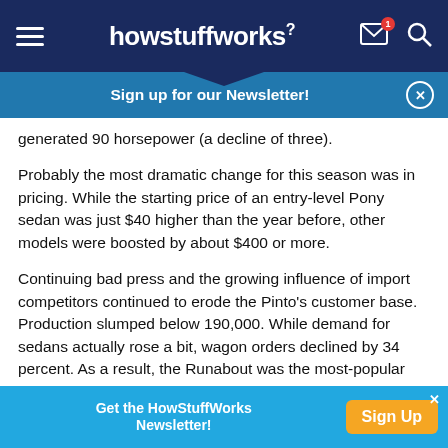howstuffworks
Sign up for our Newsletter!
generated 90 horsepower (a decline of three).
Probably the most dramatic change for this season was in pricing. While the starting price of an entry-level Pony sedan was just $40 higher than the year before, other models were boosted by about $400 or more.
Continuing bad press and the growing influence of import competitors continued to erode the Pinto's customer base. Production slumped below 190,000. While demand for sedans actually rose a bit, wagon orders declined by 34 percent. As a result, the Runabout was the most-popular Pinto for the first time since 1972.
Get the HowStuffWorks Newsletter! Sign Up